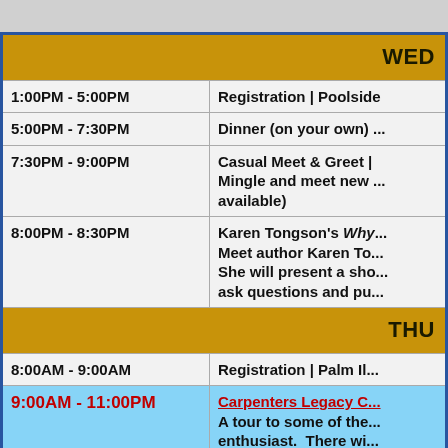| Time | Event |
| --- | --- |
| WEDNESDAY (header) |  |
| 1:00PM - 5:00PM | Registration | Poolside... |
| 5:00PM - 7:30PM | Dinner (on your own)... |
| 7:30PM - 9:00PM | Casual Meet & Greet | Mingle and meet new ... available) |
| 8:00PM - 8:30PM | Karen Tongson's Why... Meet author Karen To... She will present a sho... ask questions and pu... |
| THURSDAY (header) |  |
| 8:00AM - 9:00AM | Registration | Palm Il... |
| 9:00AM - 11:00PM | Carpenters Legacy C... A tour to some of the... enthusiast. There wi... Carpenters experienc... |